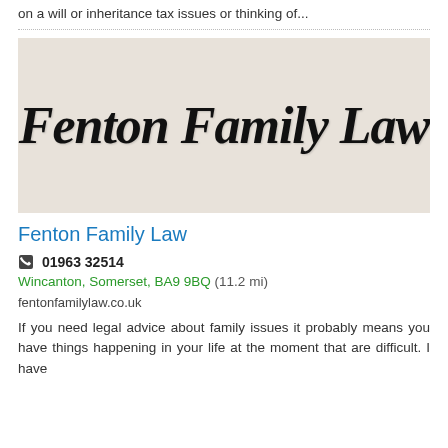on a will or inheritance tax issues or thinking of...
[Figure (logo): Fenton Family Law logo - cursive/script text on a light beige/taupe background]
Fenton Family Law
01963 32514
Wincanton, Somerset, BA9 9BQ (11.2 mi)
fentonfamilylaw.co.uk
If you need legal advice about family issues it probably means you have things happening in your life at the moment that are difficult. I have